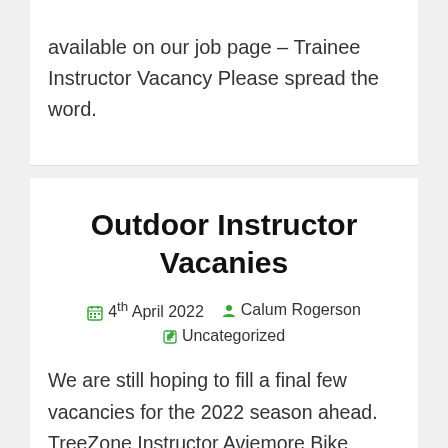available on our job page – Trainee Instructor Vacancy Please spread the word.
Outdoor Instructor Vacanies
4th April 2022   Calum Rogerson   Uncategorized
We are still hoping to fill a final few vacancies for the 2022 season ahead. TreeZone Instructor Aviemore Bike Mechanic Aviemore Activity Instructors Loch Tay You can find out more on our Vacancies page – Work with In